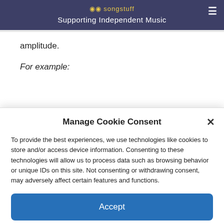songstuff — Supporting Independent Music
amplitude.
For example:
Manage Cookie Consent
To provide the best experiences, we use technologies like cookies to store and/or access device information. Consenting to these technologies will allow us to process data such as browsing behavior or unique IDs on this site. Not consenting or withdrawing consent, may adversely affect certain features and functions.
Accept
Cookie Policy  Privacy Policy